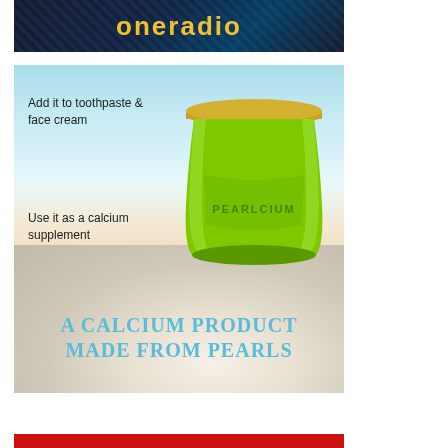[Figure (logo): oneradio website banner with dark blue/teal background and yellow 'oneradio' text]
[Figure (illustration): Pearlcium product advertisement showing a green jar labeled PEARLCIUM against a beach/ocean background with pearl shells and pearls. Text reads: 'Add it to toothpaste & face cream', 'Use it as a calcium supplement', 'A CALCIUM PRODUCT MADE FROM PEARLS']
[Figure (illustration): Partial red banner at the bottom of the page]